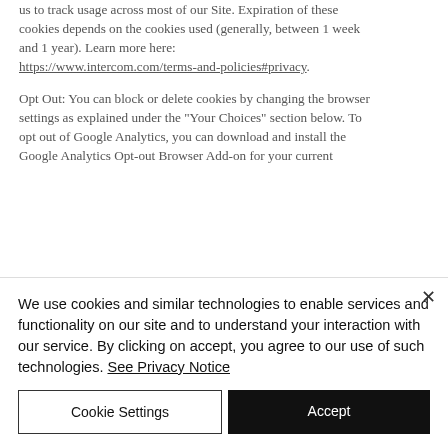us to track usage across most of our Site. Expiration of these cookies depends on the cookies used (generally, between 1 week and 1 year). Learn more here: https://www.intercom.com/terms-and-policies#privacy.
Opt Out: You can block or delete cookies by changing the browser settings as explained under the "Your Choices" section below. To opt out of Google Analytics, you can download and install the Google Analytics Opt-out Browser Add-on for your current
We use cookies and similar technologies to enable services and functionality on our site and to understand your interaction with our service. By clicking on accept, you agree to our use of such technologies. See Privacy Notice
Cookie Settings
Accept